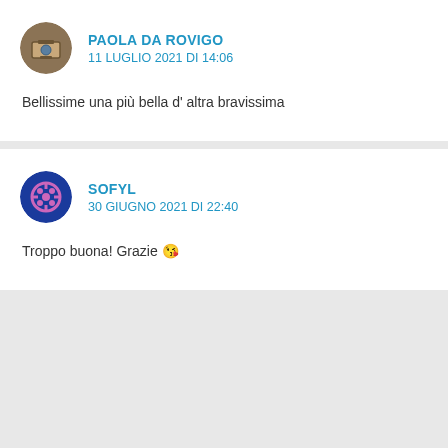PAOLA DA ROVIGO
11 LUGLIO 2021 DI 14:06
Bellissime una più bella d' altra bravissima
SOFYL
30 GIUGNO 2021 DI 22:40
Troppo buona! Grazie 😘